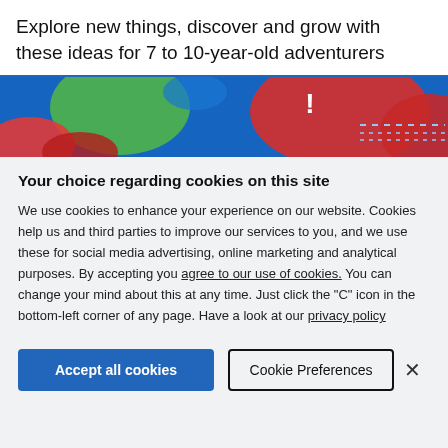Explore new things, discover and grow with these ideas for 7 to 10-year-old adventurers
[Figure (illustration): Colorful banner image with blue background and abstract colored shapes (green, red, blue) suggesting an adventurous/children's theme]
Your choice regarding cookies on this site
We use cookies to enhance your experience on our website. Cookies help us and third parties to improve our services to you, and we use these for social media advertising, online marketing and analytical purposes. By accepting you agree to our use of cookies. You can change your mind about this at any time. Just click the "C" icon in the bottom-left corner of any page. Have a look at our privacy policy
Accept all cookies | Cookie Preferences | ×